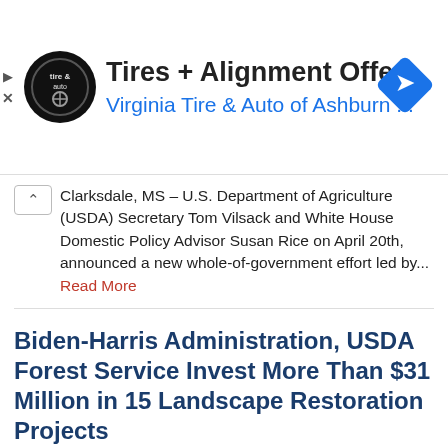[Figure (other): Advertisement banner: Virginia Tire & Auto of Ashburn logo (circular black badge), ad title 'Tires + Alignment Offer', subtitle 'Virginia Tire & Auto of Ashburn ...', blue navigation arrow diamond icon on right. Play and X icons on far left.]
Clarksdale, MS – U.S. Department of Agriculture (USDA) Secretary Tom Vilsack and White House Domestic Policy Advisor Susan Rice on April 20th, announced a new whole-of-government effort led by... Read More
Biden-Harris Administration, USDA Forest Service Invest More Than $31 Million in 15 Landscape Restoration Projects
April 21, 2022
Projects Supported by President Biden's Bipartisan Infrastructure Law Washington, DC -- The Biden-Harris